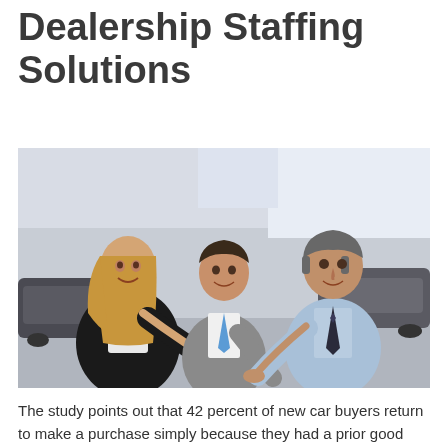Dealership Staffing Solutions
[Figure (photo): Three car dealership staff members in business attire pointing at the camera, standing in a showroom with vehicles in the background. A woman in a black jacket on the left, a man in a grey suit with blue tie in the center, and an older man in a light blue shirt with dark tie on the right.]
The study points out that 42 percent of new car buyers return to make a purchase simply because they had a prior good experience at a dealership. This indicates the importance of training salespeople in the necessary skills to attract repeat